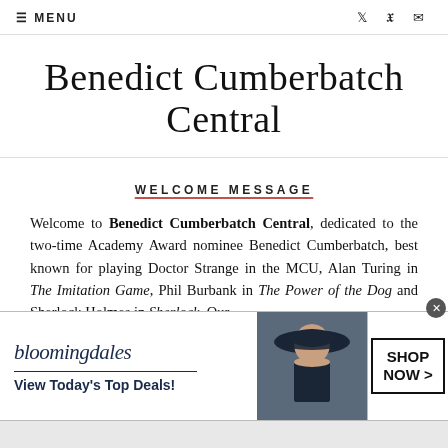≡ MENU
Benedict Cumberbatch Central
WELCOME MESSAGE
Welcome to Benedict Cumberbatch Central, dedicated to the two-time Academy Award nominee Benedict Cumberbatch, best known for playing Doctor Strange in the MCU, Alan Turing in The Imitation Game, Phil Burbank in The Power of the Dog and Sherlock Holmes in Sherlock. Our
[Figure (screenshot): Bloomingdales advertisement banner: logo, tagline 'View Today's Top Deals!', woman in hat photo, 'SHOP NOW >' button]